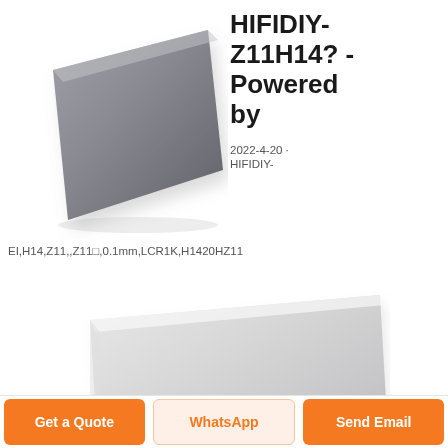[Figure (photo): Gray metallic square sheet/plate shown at an angle, dark gray color, product photo on white background]
HIFIDIY-Z11H14? - Powered by
2022-4-20 · HIFIDIY-
EI,H14,Z11,,Z11□,0.1mm,LCR1K,H1420HZ11
[Figure (photo): Light gray metallic square sheet/plate shown at an angle, lighter color than top image, product photo on white background]
Get a Quote
WhatsApp
Send Email